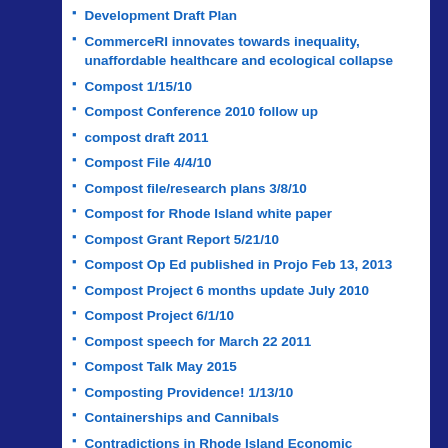Development Draft Plan
CommerceRI innovates towards inequality, unaffordable healthcare and ecological collapse
Compost 1/15/10
Compost Conference 2010 follow up
compost draft 2011
Compost File 4/4/10
Compost file/research plans 3/8/10
Compost for Rhode Island white paper
Compost Grant Report 5/21/10
Compost Op Ed published in Projo Feb 13, 2013
Compost Project 6 months update July 2010
Compost Project 6/1/10
Compost speech for March 22 2011
Compost Talk May 2015
Composting Providence! 1/13/10
Containerships and Cannibals
Contradictions in Rhode Island Economic Development Policy
corporatization of everything
Creating Prosperity for the 99% Greg's 60th Birthday conference